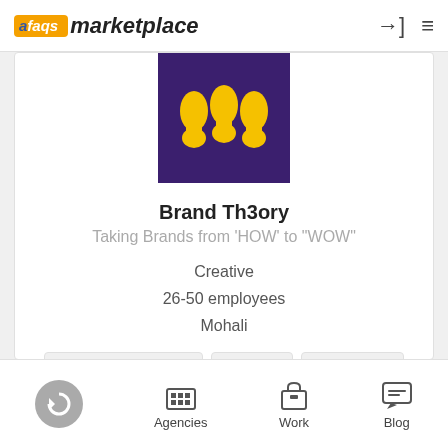afaqs! marketplace
[Figure (logo): Brand Th3ory company logo: purple background with yellow bowling pin-like figures]
Brand Th3ory
Taking Brands from 'HOW' to "WOW"
Creative
26-50 employees
Mohali
Social Media Content
Branding
Print Design
Social Media Marketing
+ 8
View Profile
Contact
Agencies   Work   Blog